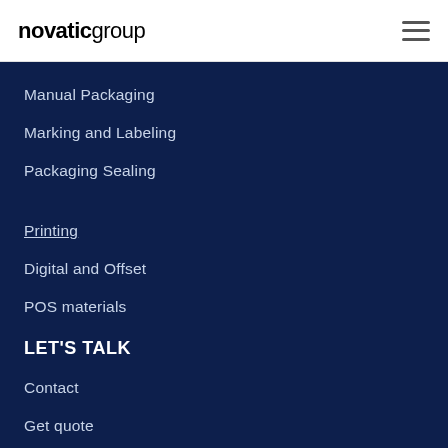novatic group
Manual Packaging
Marking and Labeling
Packaging Sealing
Printing
Digital and Offset
POS materials
LET'S TALK
Contact
Get quote